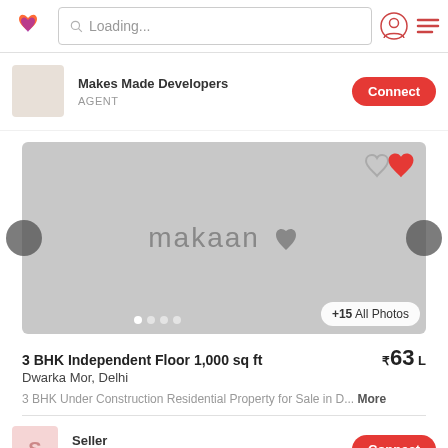Loading...
Makes Made Developers
AGENT
[Figure (screenshot): Property image placeholder with makaan logo, navigation arrows, heart icons, photo dots, and +15 All Photos button]
3 BHK Independent Floor 1,000 sq ft
₹63 L
Dwarka Mor, Delhi
3 BHK Under Construction Residential Property for Sale in D... More
Seller
VERIFIED OWNER